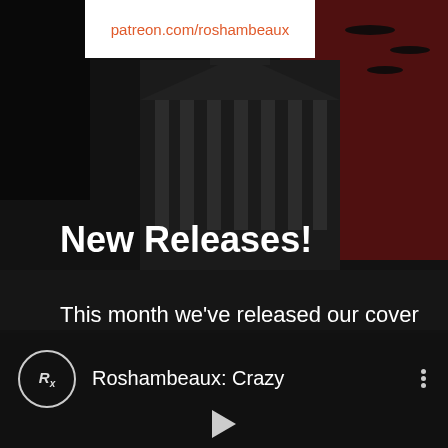[Figure (illustration): Dark illustrated background showing a monochrome city scene with a large neoclassical building with clock tower in the center, red sky with aircraft on the right side, various figures and buildings, album art collage overlaid]
patreon.com/roshambeaux
New Releases!
This month we've released our cover of "Crazy" by Gnarles Barkley on YouTube! You can watch it below!
[Figure (screenshot): YouTube player bar showing Roshambeaux: Crazy with circular Rx logo, three-dot menu, and play button at bottom]